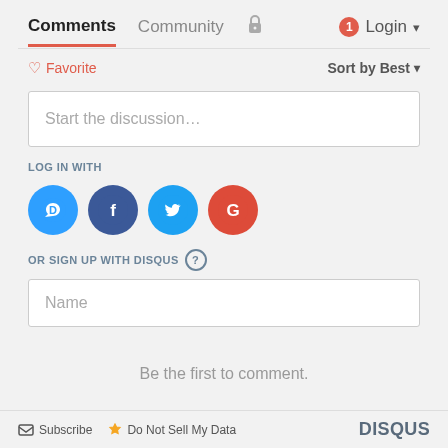Comments  Community  Login
Favorite  Sort by Best
Start the discussion…
LOG IN WITH
[Figure (infographic): Row of social login icons: Disqus (blue speech bubble with D), Facebook (dark blue circle with F), Twitter (light blue circle with bird), Google (red circle with G)]
OR SIGN UP WITH DISQUS ?
Name
Be the first to comment.
Subscribe  Do Not Sell My Data  DISQUS